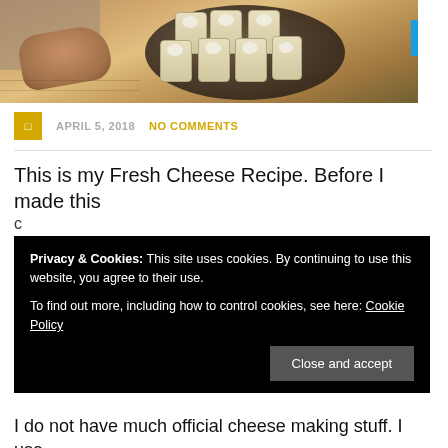[Figure (photo): Photo of hands placing cheese curds in cylindrical molds in a bowl on a wooden surface]
APRIL 5, 2018   NO COMMENTS
This is my Fresh Cheese Recipe. Before I made this
Privacy & Cookies: This site uses cookies. By continuing to use this website, you agree to their use.
To find out more, including how to control cookies, see here: Cookie Policy
kitchen.
I do not have much official cheese making stuff. I use